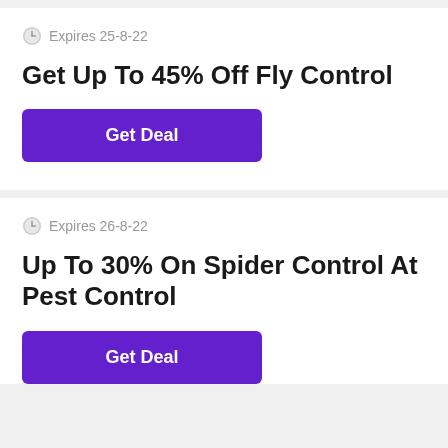Expires 25-8-22
Get Up To 45% Off Fly Control
Get Deal
Expires 26-8-22
Up To 30% On Spider Control At Pest Control
Get Deal